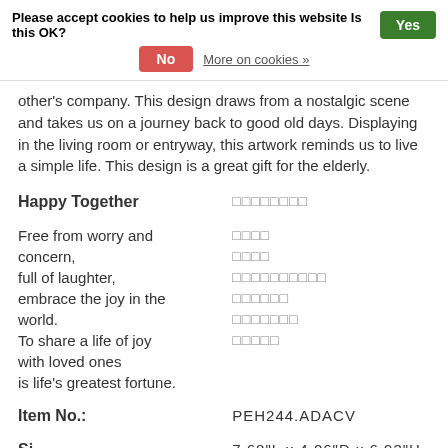[Figure (screenshot): Cookie consent banner with 'Please accept cookies to help us improve this website Is this OK?' text, a green 'Yes' button, a red 'No' button, and a 'More on cookies »' link.]
other's company. This design draws from a nostalgic scene and takes us on a journey back to good old days. Displaying in the living room or entryway, this artwork reminds us to live a simple life. This design is a great gift for the elderly.
| Happy Together | □□□□□□□□ |
| Free from worry and concern, | □□□□
□□□□ |
| full of laughter, | □□□□□□□□□□ |
| embrace the joy in the world. | □□□□□□
□□□□□□□ |
| To share a life of joy with loved ones is life's greatest fortune. | □□□□□ |
| Item No.: | PEH244.ADACV |
| Si | 7.68"L x 4.06"D x 6.93"H |